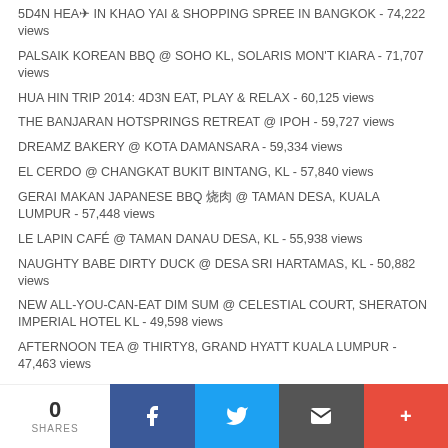5D4N HEA✈ IN KHAO YAI & SHOPPING SPREE IN BANGKOK - 74,222 views
PALSAIK KOREAN BBQ @ SOHO KL, SOLARIS MON'T KIARA - 71,707 views
HUA HIN TRIP 2014: 4D3N EAT, PLAY & RELAX - 60,125 views
THE BANJARAN HOTSPRINGS RETREAT @ IPOH - 59,727 views
DREAMZ BAKERY @ KOTA DAMANSARA - 59,334 views
EL CERDO @ CHANGKAT BUKIT BINTANG, KL - 57,840 views
GERAI MAKAN JAPANESE BBQ 焼肉 @ TAMAN DESA, KUALA LUMPUR - 57,448 views
LE LAPIN CAFÉ @ TAMAN DANAU DESA, KL - 55,938 views
NAUGHTY BABE DIRTY DUCK @ DESA SRI HARTAMAS, KL - 50,882 views
NEW ALL-YOU-CAN-EAT DIM SUM @ CELESTIAL COURT, SHERATON IMPERIAL HOTEL KL - 49,598 views
AFTERNOON TEA @ THIRTY8, GRAND HYATT KUALA LUMPUR - 47,463 views
THE TOKYO RESTAURANT @ 4F THE TABLE, ISETAN THE JAPAN STORE KL - 44,508 views